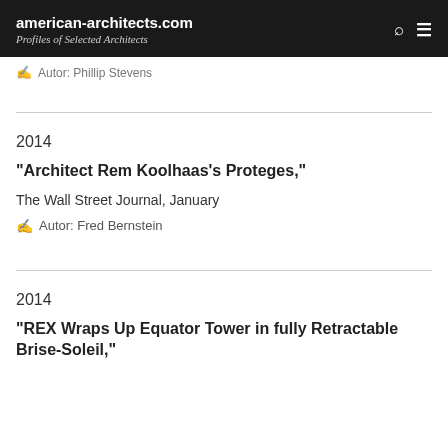american-architects.com
Profiles of Selected Architects
Autor: Phillip Stevens
2014
"Architect Rem Koolhaas's Proteges,"
The Wall Street Journal, January
Autor: Fred Bernstein
2014
"REX Wraps Up Equator Tower in fully Retractable Brise-Soleil,"